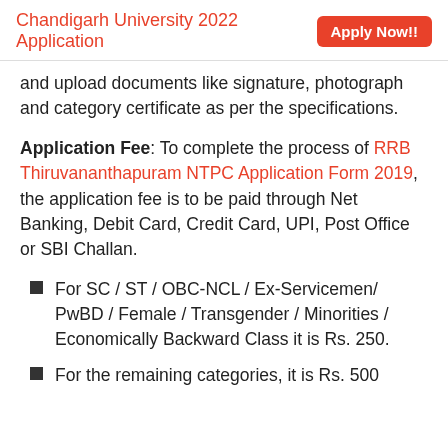Chandigarh University 2022 Application  Apply Now!!
and upload documents like signature, photograph and category certificate as per the specifications.
Application Fee: To complete the process of RRB Thiruvananthapuram NTPC Application Form 2019, the application fee is to be paid through Net Banking, Debit Card, Credit Card, UPI, Post Office or SBI Challan.
For SC / ST / OBC-NCL / Ex-Servicemen/ PwBD / Female / Transgender / Minorities / Economically Backward Class it is Rs. 250.
For the remaining categories, it is Rs. 500